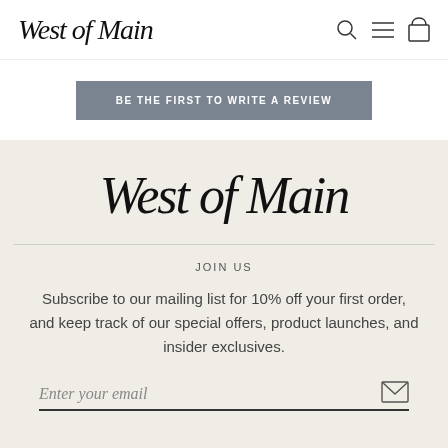West of Main
BE THE FIRST TO WRITE A REVIEW
[Figure (logo): West of Main script logo in large cursive font]
JOIN US
Subscribe to our mailing list for 10% off your first order, and keep track of our special offers, product launches, and insider exclusives.
Enter your email